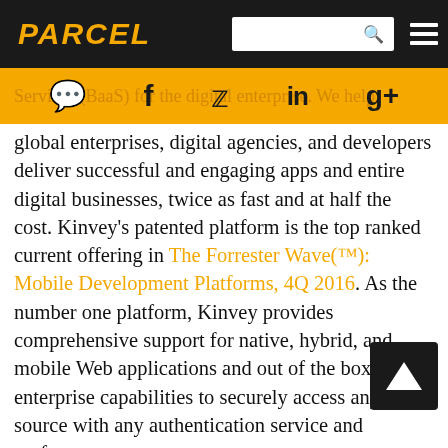PARCEL
[Figure (infographic): Orange social media bar with icons: chat bubble, Facebook f, Twitter bird, LinkedIn in, Google+ g+]
global enterprises, digital agencies, and developers deliver successful and engaging apps and entire digital businesses, twice as fast and at half the cost. Kinvey's patented platform is the top ranked current offering in The Forrester Wave(™): Mobile Development Platforms, 4Q 2016. As the number one platform, Kinvey provides comprehensive support for native, hybrid, and mobile Web applications and out of the box enterprise capabilities to securely access any data source with any authentication service and perform any